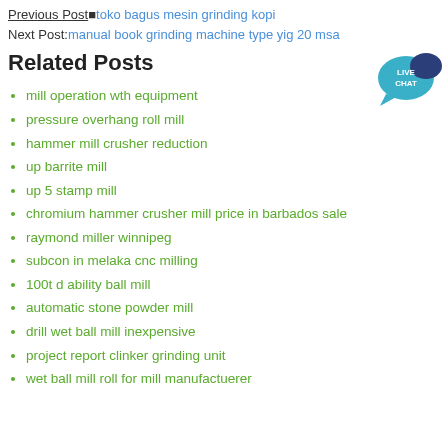Previous Post■toko bagus mesin grinding kopi
Next Post:manual book grinding machine type yig 20 msa
Related Posts
mill operation wth equipment
pressure overhang roll mill
hammer mill crusher reduction
up barrite mill
up 5 stamp mill
chromium hammer crusher mill price in barbados sale
raymond miller winnipeg
subcon in melaka cnc milling
100t d ability ball mill
automatic stone powder mill
drill wet ball mill inexpensive
project report clinker grinding unit
wet ball mill roll for mill manufactuerer
[Figure (illustration): Live chat button icon - blue speech bubble with 'LIVE CHAT' text]